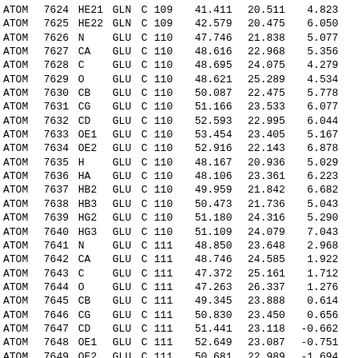| type | serial | name | res | chain | resseq | x | y | z |
| --- | --- | --- | --- | --- | --- | --- | --- | --- |
| ATOM | 7624 | HE21 | GLN | C | 109 | 41.411 | 20.511 | 4.823 |
| ATOM | 7625 | HE22 | GLN | C | 109 | 42.579 | 20.475 | 6.050 |
| ATOM | 7626 | N | GLU | C | 110 | 47.746 | 21.838 | 5.077 |
| ATOM | 7627 | CA | GLU | C | 110 | 48.616 | 22.968 | 5.356 |
| ATOM | 7628 | C | GLU | C | 110 | 48.695 | 24.075 | 4.279 |
| ATOM | 7629 | O | GLU | C | 110 | 48.621 | 25.289 | 4.534 |
| ATOM | 7630 | CB | GLU | C | 110 | 50.087 | 22.475 | 5.778 |
| ATOM | 7631 | CG | GLU | C | 110 | 51.166 | 23.533 | 6.077 |
| ATOM | 7632 | CD | GLU | C | 110 | 52.593 | 22.995 | 6.044 |
| ATOM | 7633 | OE1 | GLU | C | 110 | 53.454 | 23.405 | 5.167 |
| ATOM | 7634 | OE2 | GLU | C | 110 | 52.916 | 22.143 | 6.878 |
| ATOM | 7635 | H | GLU | C | 110 | 48.167 | 20.936 | 5.029 |
| ATOM | 7636 | HA | GLU | C | 110 | 48.106 | 23.361 | 6.223 |
| ATOM | 7637 | HB2 | GLU | C | 110 | 49.959 | 21.842 | 6.682 |
| ATOM | 7638 | HB3 | GLU | C | 110 | 50.473 | 21.736 | 5.043 |
| ATOM | 7639 | HG2 | GLU | C | 110 | 51.180 | 24.316 | 5.290 |
| ATOM | 7640 | HG3 | GLU | C | 110 | 51.109 | 24.079 | 7.043 |
| ATOM | 7641 | N | GLU | C | 111 | 48.850 | 23.648 | 2.968 |
| ATOM | 7642 | CA | GLU | C | 111 | 48.746 | 24.585 | 1.922 |
| ATOM | 7643 | C | GLU | C | 111 | 47.372 | 25.161 | 1.712 |
| ATOM | 7644 | O | GLU | C | 111 | 47.263 | 26.337 | 1.276 |
| ATOM | 7645 | CB | GLU | C | 111 | 49.345 | 23.888 | 0.614 |
| ATOM | 7646 | CG | GLU | C | 111 | 50.830 | 23.450 | 0.656 |
| ATOM | 7647 | CD | GLU | C | 111 | 51.441 | 23.118 | -0.662 |
| ATOM | 7648 | OE1 | GLU | C | 111 | 52.649 | 23.087 | -0.751 |
| ATOM | 7649 | OE2 | GLU | C | 111 | 50.681 | 22.989 | -1.694 |
| ATOM | 7650 | H | GLU | C | 111 | 48.846 | 22.696 | 2.673 |
| ATOM | 7651 | HA | GLU | C | 111 | 49.478 | 25.364 | 2.079 |
| ATOM | 7652 | HB2 | GLU | C | 111 | 48.801 | 22.962 | 0.330 |
| ATOM | 7653 | HB3 | GLU | C | 111 | 49.243 | 24.583 | -0.247 |